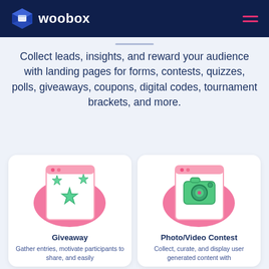woobox
Collect leads, insights, and reward your audience with landing pages for forms, contests, quizzes, polls, giveaways, coupons, digital codes, tournament brackets, and more.
[Figure (illustration): Giveaway card with pink blob and green stars on a browser-frame illustration]
Giveaway
Gather entries, motivate participants to share, and easily
[Figure (illustration): Photo/Video Contest card with pink blob and green camera on a browser-frame illustration]
Photo/Video Contest
Collect, curate, and display user generated content with